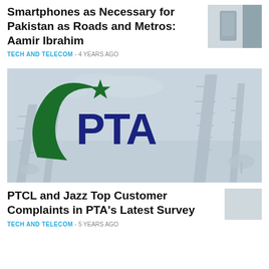Smartphones as Necessary for Pakistan as Roads and Metros: Aamir Ibrahim
TECH AND TELECOM - 4 YEARS AGO
[Figure (photo): PTA logo with green crescent and star over a background of telecommunications towers]
PTCL and Jazz Top Customer Complaints in PTA’s Latest Survey
TECH AND TELECOM - 5 YEARS AGO